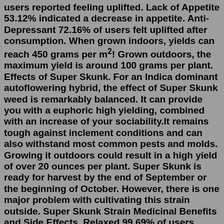users reported feeling uplifted. Lack of Appetite 53.12% indicated a decrease in appetite. Anti-Depressant 72.16% of users felt uplifted after consumption. When grown indoors, yields can reach 450 grams per m²! Grown outdoors, the maximum yield is around 100 grams per plant. Effects of Super Skunk. For an Indica dominant autoflowering hybrid, the effect of Super Skunk weed is remarkably balanced. It can provide you with a euphoric high yielding, combined with an increase of your sociability.It remains tough against inclement conditions and can also withstand most common pests and molds. Growing it outdoors could result in a high yield of over 20 ounces per plant. Super Skunk is ready for harvest by the end of September or the beginning of October. However, there is one major problem with cultivating this strain outside. Super Skunk Strain Medicinal Benefits and Side Effects. Relaxed 99.69% of users reported feeling relaxed. Happiness 74.77% of users reported feeling happier. Uplifted 39.31% of users reported feeling uplifted.